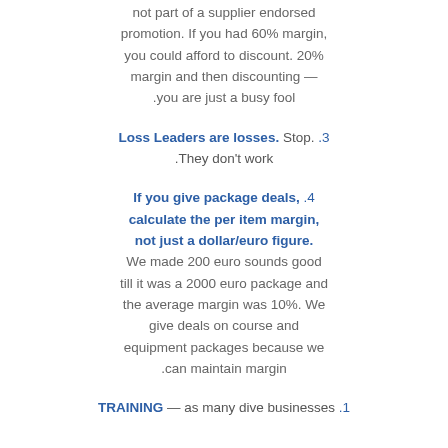not part of a supplier endorsed promotion. If you had 60% margin, you could afford to discount. 20% margin and then discounting — you are just a busy fool.
3. Loss Leaders are losses. Stop. They don't work.
4. If you give package deals, calculate the per item margin, not just a dollar/euro figure. We made 200 euro sounds good till it was a 2000 euro package and the average margin was 10%. We give deals on course and equipment packages because we can maintain margin.
TRAINING — as many dive businesses 1.